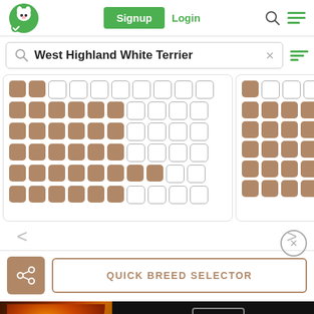Signup  Login
West Highland White Terrier
[Figure (screenshot): A grid of filled (brown) and empty (outlined) rounded square dots arranged in a card panel, representing dog breed selection dots]
[Figure (screenshot): Partial card panel with filled brown dots on the right side]
< (back arrow)  > (forward arrow)
[Figure (infographic): Share button (brown square with share icon) and QUICK BREED SELECTOR button]
QUICK BREED SELECTOR
[Figure (photo): Seamless food delivery advertisement banner showing pizza image, seamless logo, and ORDER NOW button]